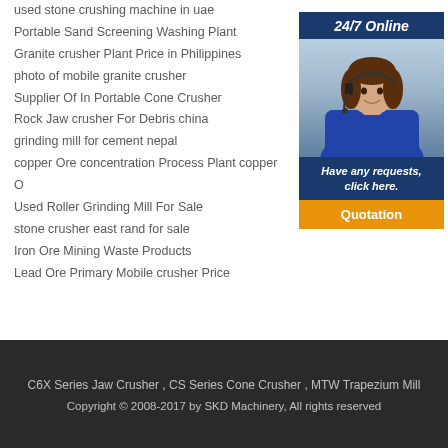used stone crushing machine in uae
Portable Sand Screening Washing Plant
Granite crusher Plant Price in Philippines
photo of mobile granite crusher
Supplier Of In Portable Cone Crusher
Rock Jaw crusher For Debris china
grinding mill for cement nepal
copper Ore concentration Process Plant copper O
Used Roller Grinding Mill For Sale
stone crusher east rand for sale
Iron Ore Mining Waste Products
Lead Ore Primary Mobile crusher Price
[Figure (illustration): 24/7 Online customer service sidebar with photo of a woman wearing a headset. Dark blue header reading '24/7 Online', photo of woman with headset, dark blue text panel 'Have any requests, click here.' and orange button 'Quotation'.]
C6X Series Jaw Crusher , CS Series Cone Crusher , MTW Trapezium Mill
Copyright © 2008-2017 by SKD Machinery, All rights reserved